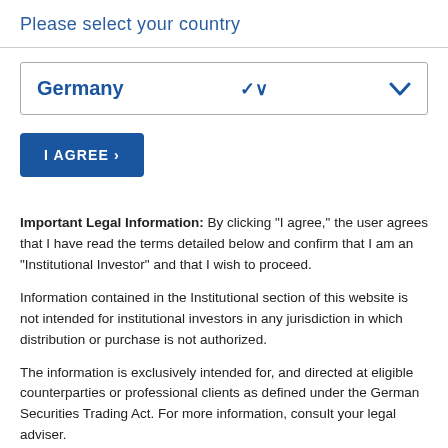Please select your country
Germany
I AGREE ›
Important Legal Information: By clicking "I agree," the user agrees that I have read the terms detailed below and confirm that I am an "Institutional Investor" and that I wish to proceed.

Information contained in the Institutional section of this website is not intended for institutional investors in any jurisdiction in which distribution or purchase is not authorized.

The information is exclusively intended for, and directed at eligible counterparties or professional clients as defined under the German Securities Trading Act. For more information, consult your legal adviser.

Nothing on this website constitutes investment, legal, business, tax or any other type of advice. The information on